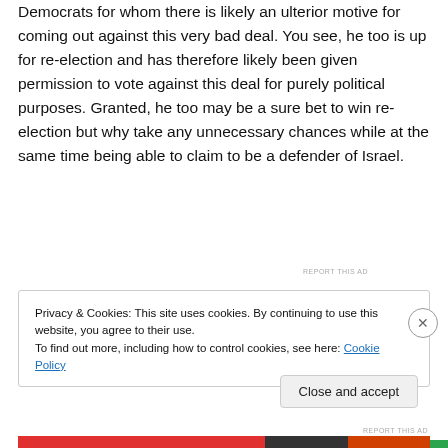Democrats for whom there is likely an ulterior motive for coming out against this very bad deal.  You see, he too is up for re-election and has therefore likely been given permission to vote against this deal for purely political purposes.  Granted, he too may be a sure bet to win re-election but why take any unnecessary chances while at the same time being able to claim to be a defender of Israel.
[Figure (screenshot): Jetpack green advertisement banner with logo and 'Secure Your Site' link]
REPORT THIS AD
Privacy & Cookies: This site uses cookies. By continuing to use this website, you agree to their use.
To find out more, including how to control cookies, see here: Cookie Policy
Close and accept